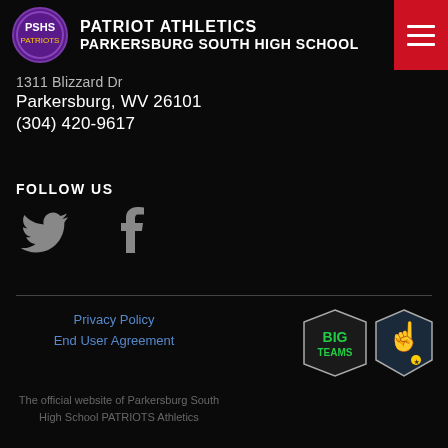PATRIOT ATHLETICS PARKERSBURG SOUTH HIGH SCHOOL
1311 Blizzard Dr
Parkersburg, WV 26101
(304) 420-9617
FOLLOW US
[Figure (logo): Twitter bird icon and Facebook f icon in gray]
[Figure (logo): BigTeams badge logo and FanAngel/number-one fan badge logo]
Privacy Policy
End User Agreement
The official website of Parkersburg South High School PATRIOTS Athletics